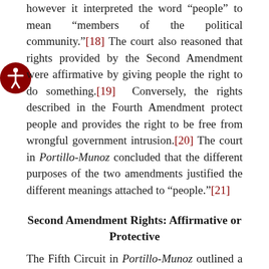however it interpreted the word “people” to mean “members of the political community.”[18] The court also reasoned that rights provided by the Second Amendment were affirmative by giving people the right to do something.[19] Conversely, the rights described in the Fourth Amendment protect people and provides the right to be free from wrongful government intrusion.[20] The court in Portillo-Munoz concluded that the different purposes of the two amendments justified the different meanings attached to “people.”[21]
Second Amendment Rights: Affirmative or Protective
The Fifth Circuit in Portillo-Munoz outlined a dichotomy of rights guaranteed by the Bill of